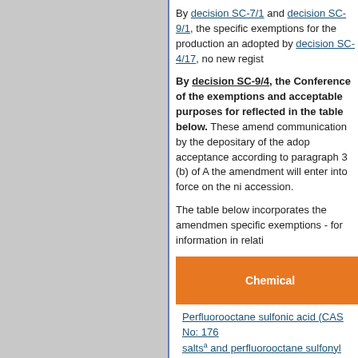By decision SC-7/1 and decision SC-9/1, the specific exemptions for the production and adopted by decision SC-4/17, no new registr...
By decision SC-9/4, the Conference of the exemptions and acceptable purposes for reflected in the table below. These amendments communication by the depositary of the adoption acceptance according to paragraph 3 (b) of A the amendment will enter into force on the ninetieth day after accession.
The table below incorporates the amendments specific exemptions - for information in relati...
| Chemical |
| --- |
| Perfluorooctane sulfonic acid (CAS No: 1763... salts^a and perfluorooctane sulfonyl fluoride (CAS No: 307-35-7) |
a For example:
potassium perfluorooctane sulfonate